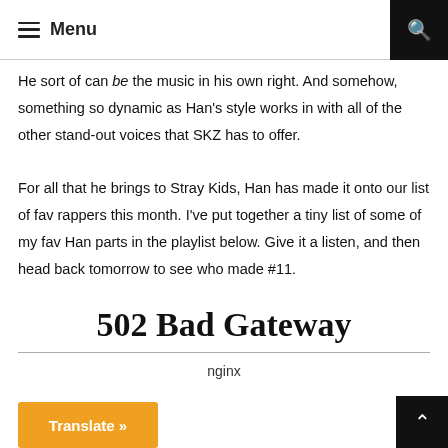Menu
He sort of can be the music in his own right. And somehow, something so dynamic as Han's style works in with all of the other stand-out voices that SKZ has to offer.
For all that he brings to Stray Kids, Han has made it onto our list of fav rappers this month. I've put together a tiny list of some of my fav Han parts in the playlist below. Give it a listen, and then head back tomorrow to see who made #11.
502 Bad Gateway
nginx